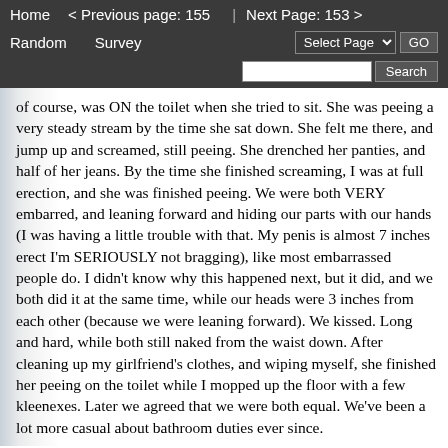Home   < Previous page: 155  |  Next Page: 153 >   Random   Survey   Select Page  GO   Search
of course, was ON the toilet when she tried to sit. She was peeing a very steady stream by the time she sat down. She felt me there, and jump up and screamed, still peeing. She drenched her panties, and half of her jeans. By the time she finished screaming, I was at full erection, and she was finished peeing. We were both VERY embarred, and leaning forward and hiding our parts with our hands (I was having a little trouble with that. My penis is almost 7 inches erect I'm SERIOUSLY not bragging), like most embarrassed people do. I didn't know why this happened next, but it did, and we both did it at the same time, while our heads were 3 inches from each other (because we were leaning forward). We kissed. Long and hard, while both still naked from the waist down. After cleaning up my girlfriend's clothes, and wiping myself, she finished her peeing on the toilet while I mopped up the floor with a few kleenexes. Later we agreed that we were both equal. We've been a lot more casual about bathroom duties ever since.